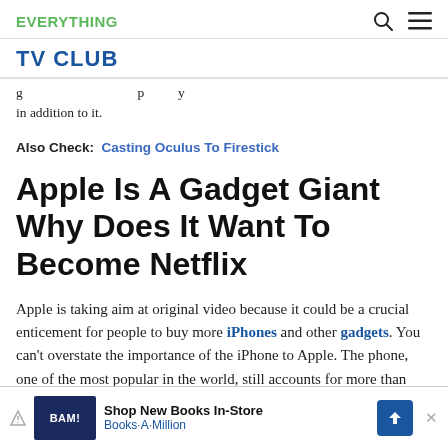EVERYTHING
TV CLUB
g p y in addition to it.
Also Check: Casting Oculus To Firestick
Apple Is A Gadget Giant Why Does It Want To Become Netflix
Apple is taking aim at original video because it could be a crucial enticement for people to buy more iPhones and other gadgets. You can't overstate the importance of the iPhone to Apple. The phone, one of the most popular in the world, still accounts for more than half its sales and
[Figure (other): Advertisement banner for Books-A-Million (BAM!) with text 'Shop New Books In-Store' and 'Books-A-Million', blue logo and directional arrow icon.]